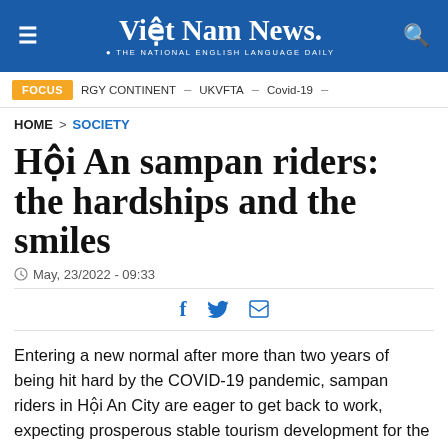Việt Nam News. THE NATIONAL ENGLISH LANGUAGE DAILY
FOCUS  RGY CONTINENT  –  UKVFTA  –  Covid-19  –
HOME > SOCIETY
Hội An sampan riders: the hardships and the smiles
May, 23/2022 - 09:33
Entering a new normal after more than two years of being hit hard by the COVID-19 pandemic, sampan riders in Hội An City are eager to get back to work, expecting prosperous stable tourism development for the town.